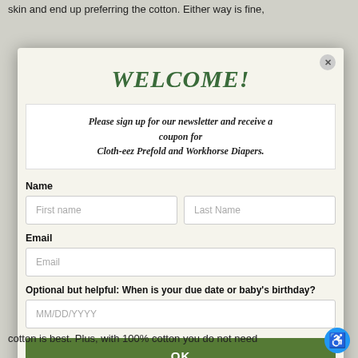skin and end up preferring the cotton. Either way is fine,
WELCOME!
Please sign up for our newsletter and receive a coupon for Cloth-eez Prefold and Workhorse Diapers.
Name
First name
Last Name
Email
Email
Optional but helpful: When is your due date or baby's birthday?
MM/DD/YYYY
OK
cotton is best. Plus, with 100% cotton you do not need